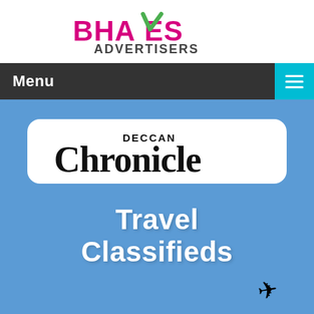[Figure (logo): BhaVes Advertisers logo with pink bold text 'BHAVES' and green checkmark replacing the V, and 'ADVERTISERS' below in dark gray]
[Figure (infographic): Navigation bar with dark gray background showing 'Menu' text on left in white and teal hamburger menu icon on right]
[Figure (logo): Deccan Chronicle newspaper logo in white rounded rectangle box on blue background]
Travel Classifieds
[Figure (illustration): Small airplane emoji icon in lower right of blue area]